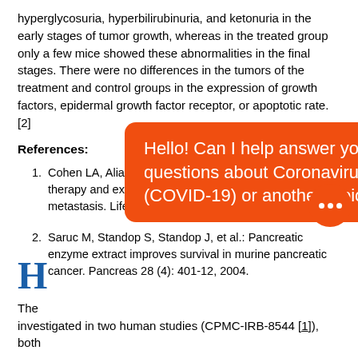hyperglycosuria, hyperbilirubinuria, and ketonuria in the early stages of tumor growth, whereas in the treated group only a few mice showed these abnormalities in the final stages. There were no differences in the tumors of the treatment and control groups in the expression of growth factors, epidermal growth factor receptor, or apoptotic rate.[2]
References:
Cohen LA, Aliaga C, Pittman B, et al.: Oral enzyme therapy and experimental rat mammary tumor metastasis. Life Sci 65 (24): 2603-14, 1999.
Saruc M, Standop S, Standop J, et al.: Pancreatic enzyme extract improves survival in murine pancreatic cancer. Pancreas 28 (4): 401-12, 2004.
H
The ... been investigated in two human studies (CPMC-IRB-8544 [1]), both
[Figure (screenshot): Chat popup overlay with orange background reading 'Hello! Can I help answer your questions about Coronavirus (COVID-19) or another topic?' with an orange circular chat icon button.]